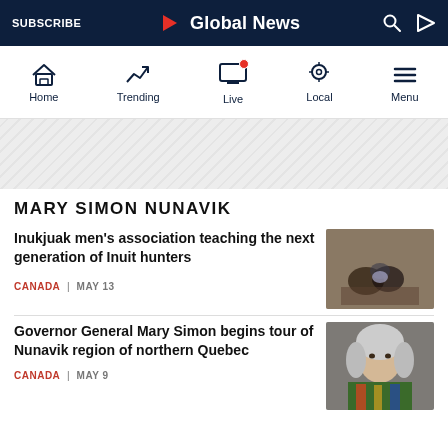Global News — SUBSCRIBE
[Figure (screenshot): Navigation icon bar with Home, Trending, Live (with red dot), Local, Menu icons]
[Figure (other): Ad banner area with diagonal stripe pattern]
MARY SIMON NUNAVIK
Inukjuak men's association teaching the next generation of Inuit hunters
CANADA | MAY 13
[Figure (photo): Photo of people sitting together, some wearing masks, in an indoor setting]
Governor General Mary Simon begins tour of Nunavik region of northern Quebec
CANADA | MAY 9
[Figure (photo): Photo of an older woman with grey-white hair, wearing a colorful patterned top]